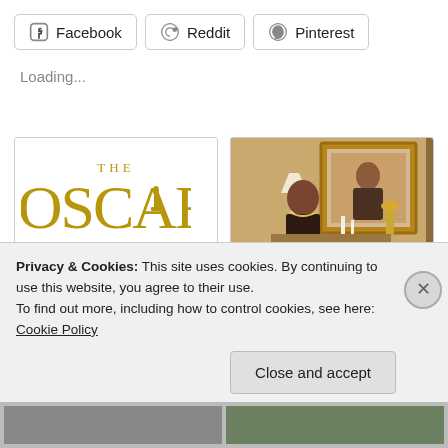[Figure (screenshot): Social share buttons row: Facebook, Reddit, Pinterest]
Loading...
[Figure (screenshot): Oscars logo card – THE OSCARS text and statuette in gold on white background with caption: Oscar 2014 Winner Predictions & Reminiscing on Best Actor/Actress]
[Figure (photo): Photo of an actress in an elegant dress sitting; caption: 10 Actresses I would watch in just about anything]
Privacy & Cookies: This site uses cookies. By continuing to use this website, you agree to their use.
To find out more, including how to control cookies, see here: Cookie Policy
Close and accept